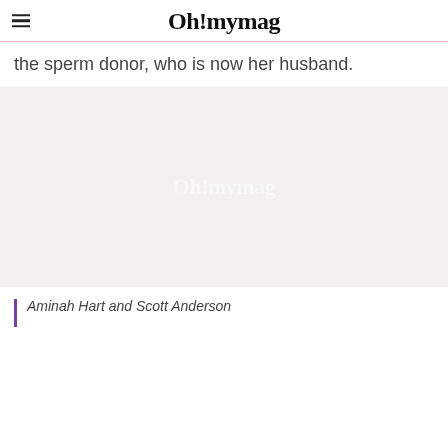Oh!mymag
the sperm donor, who is now her husband.
[Figure (photo): Large image placeholder with 'Oh!mymag' watermark on a light gray background]
Aminah Hart and Scott Anderson